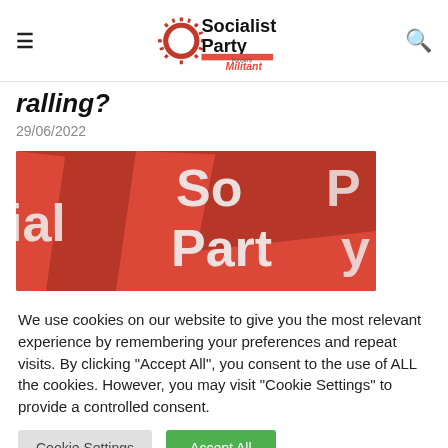Socialist Party (formerly Militant) — navigation header with logo, hamburger menu, and search icon
ralling?
29/06/2022
[Figure (photo): Red Socialist Party flags waving, with white text 'Socialist Party' visible on the flags]
We use cookies on our website to give you the most relevant experience by remembering your preferences and repeat visits. By clicking "Accept All", you consent to the use of ALL the cookies. However, you may visit "Cookie Settings" to provide a controlled consent.